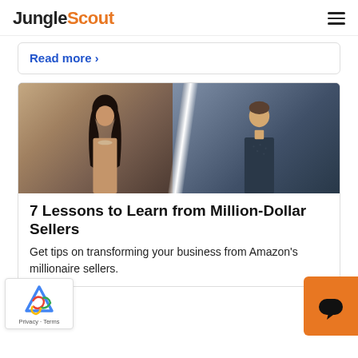JungleScout
Read more >
[Figure (photo): Two people side by side split image: woman with long dark hair on left, man in dark shirt on right]
7 Lessons to Learn from Million-Dollar Sellers
Get tips on transforming your business from Amazon's millionaire sellers.